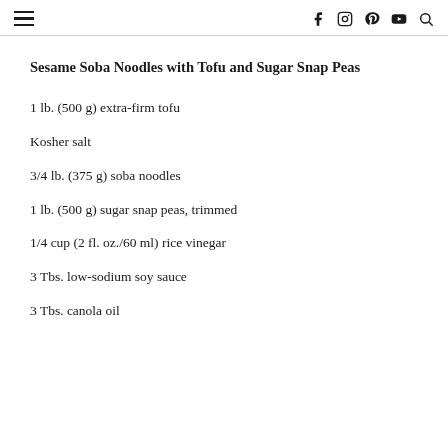≡  f  ⓘ  ⓟ  ▶  🔍
Sesame Soba Noodles with Tofu and Sugar Snap Peas
1 lb. (500 g) extra-firm tofu
Kosher salt
3/4 lb. (375 g) soba noodles
1 lb. (500 g) sugar snap peas, trimmed
1/4 cup (2 fl. oz./60 ml) rice vinegar
3 Tbs. low-sodium soy sauce
3 Tbs. canola oil